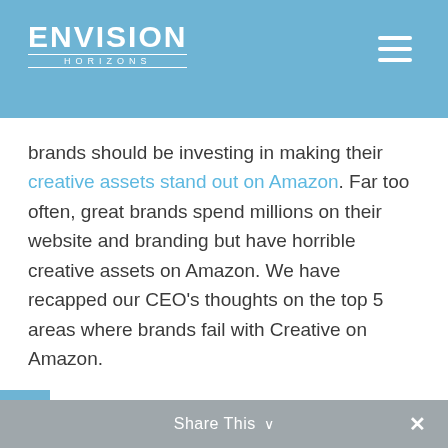ENVISION HORIZONS
brands should be investing in making their creative assets stand out on Amazon. Far too often, great brands spend millions on their website and branding but have horrible creative assets on Amazon. We have recapped our CEO’s thoughts on the top 5 areas where brands fail with Creative on Amazon.
Share This